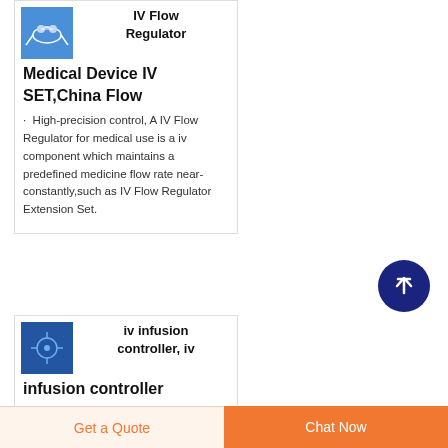[Figure (photo): Small thumbnail of IV flow regulator medical device components (tubes, connectors) on blue background]
IV Flow Regulator Medical Device IV SET,China Flow
High-precision control, A IV Flow Regulator for medical use is a iv component which maintains a predefined medicine flow rate near-constantly,such as IV Flow Regulator Extension Set.
[Figure (photo): Small thumbnail of iv infusion controller device on blue background]
iv infusion controller, iv infusion controller